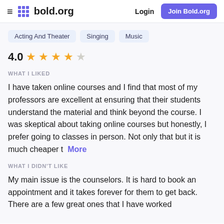bold.org — Login | Join Bold.org
Acting And Theater
Singing
Music
4.0 ★★★★☆
WHAT I LIKED
I have taken online courses and I find that most of my professors are excellent at ensuring that their students understand the material and think beyond the course. I was skeptical about taking online courses but honestly, I prefer going to classes in person. Not only that but it is much cheaper t More
WHAT I DIDN'T LIKE
My main issue is the counselors. It is hard to book an appointment and it takes forever for them to get back. There are a few great ones that I have worked